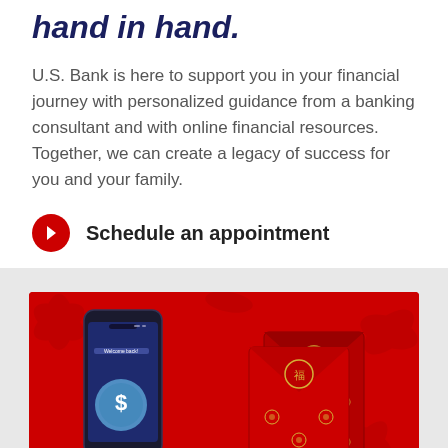hand in hand.
U.S. Bank is here to support you in your financial journey with personalized guidance from a banking consultant and with online financial resources. Together, we can create a legacy of success for you and your family.
Schedule an appointment
[Figure (photo): Promotional banner with red festive background showing a smartphone with U.S. Bank app displaying 'Welcome back!' and a dollar sign icon, alongside red envelopes decorated with gold floral patterns, on a red background with floral motifs.]